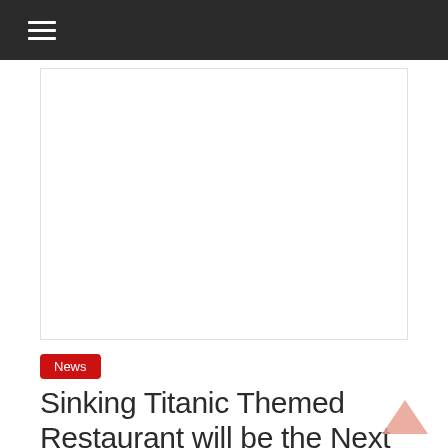≡
[Figure (other): Advertisement or image placeholder area, white rectangle with light border]
News
Sinking Titanic Themed Restaurant will be the Next Big Attraction of